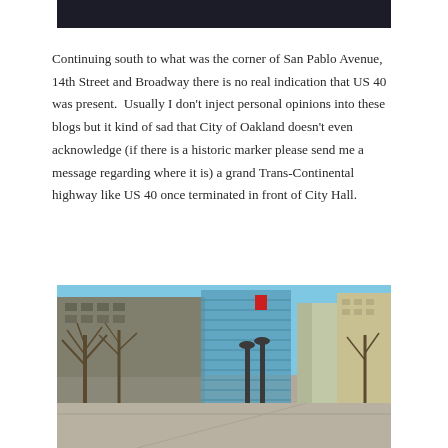[Figure (photo): Dark top portion of a previous photo, cropped — dark background strip]
Continuing south to what was the corner of San Pablo Avenue, 14th Street and Broadway there is no real indication that US 40 was present.  Usually I don't inject personal opinions into these blogs but it kind of sad that City of Oakland doesn't even acknowledge (if there is a historic marker please send me a message regarding where it is) a grand Trans-Continental highway like US 40 once terminated in front of City Hall.
[Figure (photo): Street-level photograph of downtown Oakland showing glass office buildings, bare trees, street lamps, and a wide pedestrian boulevard under a clear blue sky.]